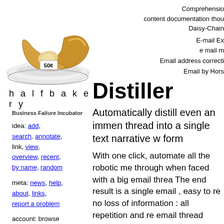[Figure (photo): Croissants on a plate with a '50¢' price tag label]
h a l f b a k e r y
Business Failure Incubator
idea: add, search, annotate, link, view, overview, recent, by name, random
meta: news, help, about, links, report a problem
account: browse anonymously, or get an account and write.
Comprehensio content documentation thou Daisy-Chain
E-mail Ex e mail m Email address correcti Email by Hors
Distiller
Automatically distill even an immen thread into a single text narrative w form
With one click, automate all the robotic me through when faced with a big email threa The end result is a single email , easy to re no loss of information : all repetition and re email thread comprised of N emails can ha by a factor of N/2 or better. Email is a main the most used application on a smartpho